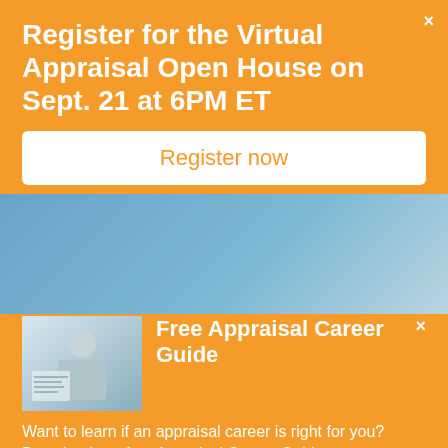Register for the Virtual Appraisal Open House on Sept. 21 at 6PM ET
Register now
[Figure (screenshot): Background website showing a webpage with a green sidebar and a blue/grey banner image with a yellow-green circle element]
Free Appraisal Career Guide
Want to learn if an appraisal career is right for you? Download our free Appraisal Career Guide.
DOWNLOAD NOW